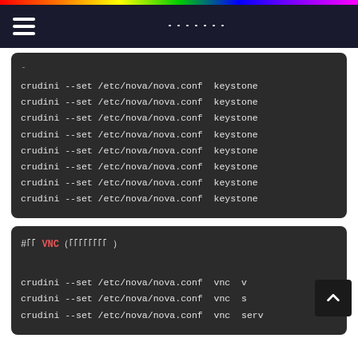（navigation bar with hamburger menu and title in Japanese characters）
[Figure (screenshot): Dark code block showing repeated crudini --set /etc/nova/nova.conf keystone commands (8 lines, truncated on right)]
[Figure (screenshot): Dark code block with comment #〇〇 VNC（〇〇〇〇〇〇〇〇）followed by 3 crudini --set /etc/nova/nova.conf vnc commands]
# VNC scroll-to-top button overlay